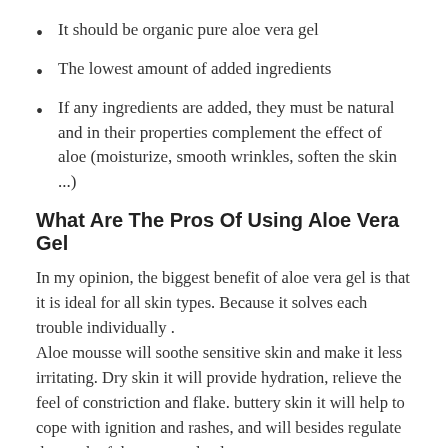It should be organic pure aloe vera gel
The lowest amount of added ingredients
If any ingredients are added, they must be natural and in their properties complement the effect of aloe (moisturize, smooth wrinkles, soften the skin ...)
What Are The Pros Of Using Aloe Vera Gel
In my opinion, the biggest benefit of aloe vera gel is that it is ideal for all skin types. Because it solves each trouble individually .
Aloe mousse will soothe sensitive skin and make it less irritating. Dry skin it will provide hydration, relieve the feel of constriction and flake. buttery skin it will help to cope with ignition and rashes, and will besides regulate the work of the greasy glands .
besides, the advantage of aloe vera mousse is that it can be used to solve respective smasher problems. not merely for